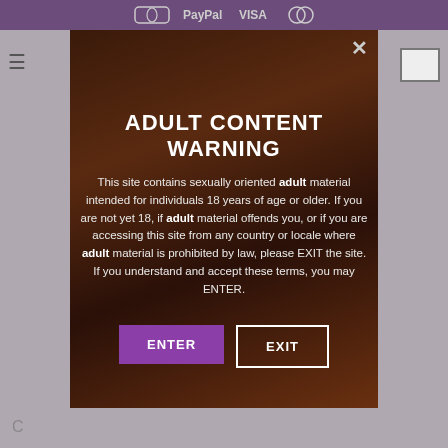Payment icons: PayPal, VISA, Mastercard
ADULT CONTENT WARNING
This site contains sexually oriented adult material intended for individuals 18 years of age or older. If you are not yet 18, if adult material offends you, or if you are accessing this site from any country or locale where adult material is prohibited by law, please EXIT the site. If you understand and accept these terms, you may ENTER.
ENTER
EXIT